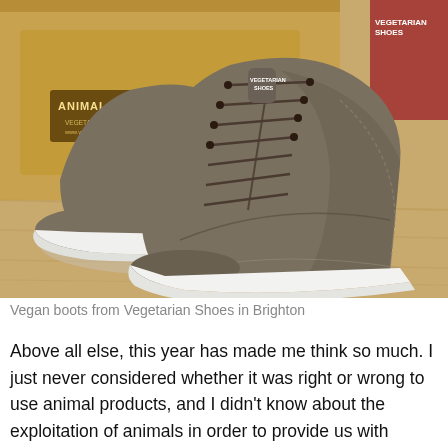[Figure (photo): Photo of grey/brown vegan high-top sneakers from Vegetarian Shoes brand, displayed on a wooden surface with a brown cardboard box in the background that reads 'ANIMAL FRIENDLY FOOT' (footwear). The shoes have white rubber soles and dark laces.]
Vegan boots from Vegetarian Shoes in Brighton
Above all else, this year has made me think so much. I just never considered whether it was right or wrong to use animal products, and I didn't know about the exploitation of animals in order to provide us with everyday products like a pint of milk or an omelette. The environmental